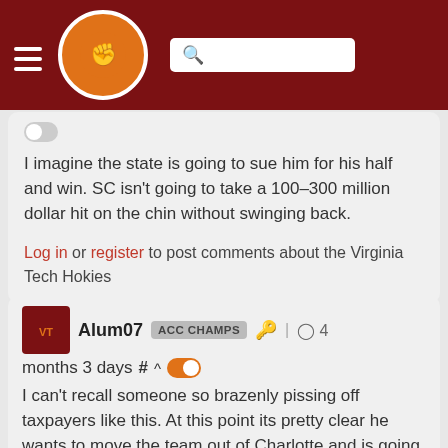The Key Play - navigation header with logo and search bar
I imagine the state is going to sue him for his half and win. SC isn't going to take a 100-300 million dollar hit on the chin without swinging back.
Log in or register to post comments about the Virginia Tech Hokies
Alum07  ACC CHAMPS  |  4 months 3 days # ^
I can't recall someone so brazenly pissing off taxpayers like this. At this point its pretty clear he wants to move the team out of Charlotte and is going to pull off every